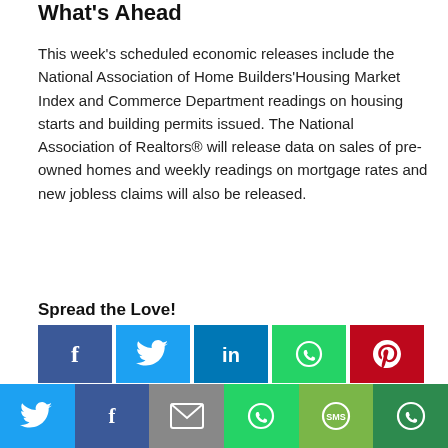What's Ahead
This week's scheduled economic releases include the National Association of Home Builders'Housing Market Index and Commerce Department readings on housing starts and building permits issued. The National Association of Realtors® will release data on sales of pre-owned homes and weekly readings on mortgage rates and new jobless claims will also be released.
Spread the Love!
[Figure (infographic): Social sharing buttons: Facebook (dark blue), Twitter (light blue), LinkedIn (blue), WhatsApp (green), Pinterest (red), More/Plus (orange). Bottom bar with Twitter, Facebook, Email, WhatsApp, SMS, More sharing options.]